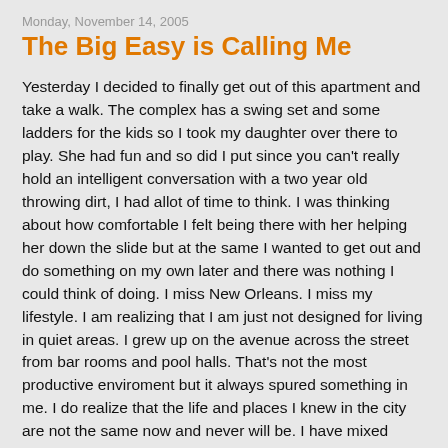Monday, November 14, 2005
The Big Easy is Calling Me
Yesterday I decided to finally get out of this apartment and take a walk. The complex has a swing set and some ladders for the kids so I took my daughter over there to play. She had fun and so did I put since you can't really hold an intelligent conversation with a two year old throwing dirt, I had allot of time to think. I was thinking about how comfortable I felt being there with her helping her down the slide but at the same I wanted to get out and do something on my own later and there was nothing I could think of doing. I miss New Orleans. I miss my lifestyle. I am realizing that I am just not designed for living in quiet areas. I grew up on the avenue across the street from bar rooms and pool halls. That's not the most productive enviroment but it always spured something in me. I do realize that the life and places I knew in the city are not the same now and never will be. I have mixed emotions about relocation. With each passing day my plans to go back home or stay here become more and more confusing. There are so many reasons to stay and so many